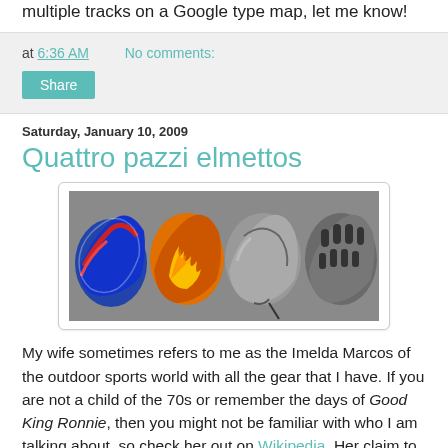multiple tracks on a Google type map, let me know!
at 6:36 AM   No comments:
Share
Saturday, January 10, 2009
Quattro pazzi elmettos
[Figure (photo): Four bicycle/sports helmets arranged in a row on a gray surface: a blue and red helmet, an orange helmet with yellow flame design, a silver/gray metallic helmet, and a ventilated gray helmet.]
My wife sometimes refers to me as the Imelda Marcos of the outdoor sports world with all the gear that I have. If you are not a child of the 70s or remember the days of Good King Ronnie, then you might not be familiar with who I am talking about, so check her out on Wikipedia. Her claim to fame was the enormous amount of shoes and gowns she has